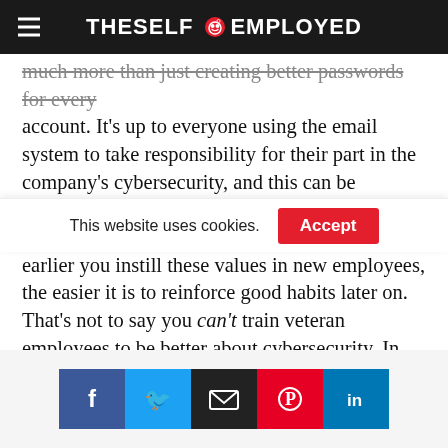THESELF EMPLOYED
much more than just creating better passwords for every account. It’s up to everyone using the email system to take responsibility for their part in the company’s cybersecurity, and this can be difficult to accomplish unless you’re including cybersecurity in your onboarding process. The earlier you instill these values in new employees, the easier it is to reinforce good habits later on.
That’s not to say you can’t train veteran employees to be better about cybersecurity. In this guide, we’ll cover
This website uses cookies.
[Figure (infographic): Social sharing buttons: Facebook, Twitter, Email, Pinterest, LinkedIn]